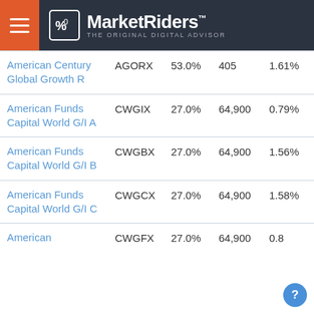MarketRiders — THE ORIGINAL DIGITAL ADVISOR
| Fund Name | Ticker | Stocks% | Employees | Expense |
| --- | --- | --- | --- | --- |
| American Century Global Growth R | AGORX | 53.0% | 405 | 1.61% |
| American Funds Capital World G/I A | CWGIX | 27.0% | 64,900 | 0.79% |
| American Funds Capital World G/I B | CWGBX | 27.0% | 64,900 | 1.56% |
| American Funds Capital World G/I C | CWGCX | 27.0% | 64,900 | 1.58% |
| American ... | CWGFX | 27.0% | 64,900 | 0.8... |